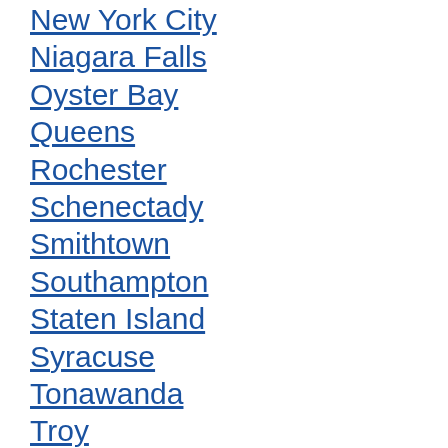New York City
Niagara Falls
Oyster Bay
Queens
Rochester
Schenectady
Smithtown
Southampton
Staten Island
Syracuse
Tonawanda
Troy
Utica
White Plains
Yon…